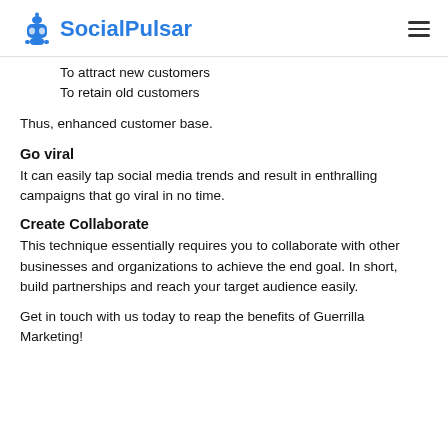SocialPulsar
To attract new customers
To retain old customers
Thus, enhanced customer base.
Go viral
It can easily tap social media trends and result in enthralling campaigns that go viral in no time.
Create Collaborate
This technique essentially requires you to collaborate with other businesses and organizations to achieve the end goal. In short, build partnerships and reach your target audience easily.
Get in touch with us today to reap the benefits of Guerrilla Marketing!